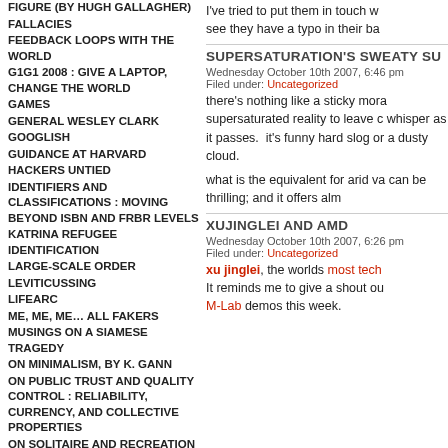FIGURE (BY HUGH GALLAGHER)
FALLACIES
FEEDBACK LOOPS WITH THE WORLD
G1G1 2008 : GIVE A LAPTOP, CHANGE THE WORLD
GAMES
GENERAL WESLEY CLARK
GOOGLISH
GUIDANCE AT HARVARD
HACKERS UNTIED
IDENTIFIERS AND CLASSIFICATIONS : MOVING BEYOND ISBN AND FRBR LEVELS
KATRINA REFUGEE IDENTIFICATION
LARGE-SCALE ORDER
LEVITICUSSING
LIFEARC
ME, ME, ME… ALL FAKERS
MUSINGS ON A SIAMESE TRAGEDY
ON MINIMALISM, BY K. GANN
ON PUBLIC TRUST AND QUALITY CONTROL : RELIABILITY, CURRENCY, AND COLLECTIVE PROPERTIES
ON SOLITAIRE AND RECREATION
ON TRANSCRIPTION [ THE JOYS AND SORROWS OF ]
PHILADELPHIA'S BEST : MAY 2003
I've tried to put them in touch w see they have a typo in their ba
SUPERSATURATION'S SWEATY SU
Wednesday October 10th 2007, 6:46 pm
Filed under: Uncategorized
there's nothing like a sticky mora supersaturated reality to leave c whisper as it passes.  it's funny hard slog or a dusty cloud.
what is the equivalent for arid va can be thrilling; and it offers alm
XUJINGLEI AND AMD
Wednesday October 10th 2007, 6:26 pm
Filed under: Uncategorized
xu jinglei, the worlds most tech It reminds me to give a shout ou M-Lab demos this week.